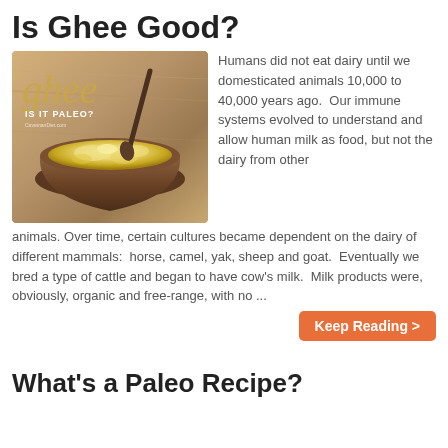Is Ghee Good?
[Figure (photo): Photo of a wooden bowl filled with ghee (clarified butter) with a spoon, overlaid with text 'ghee IS IT PALEO?']
Humans did not eat dairy until we domesticated animals 10,000 to 40,000 years ago.  Our immune systems evolved to understand and allow human milk as food, but not the dairy from other animals. Over time, certain cultures became dependent on the dairy of different mammals:  horse, camel, yak, sheep and goat.  Eventually we bred a type of cattle and began to have cow’s milk.  Milk products were, obviously, organic and free-range, with no ...
Keep Reading >
What’s a Paleo Recipe?